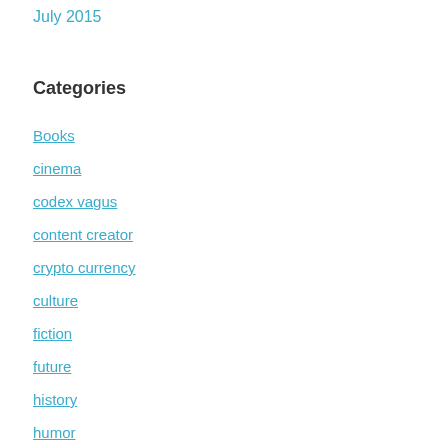July 2015
Categories
Books
cinema
codex vagus
content creator
crypto currency
culture
fiction
future
history
humor
internet